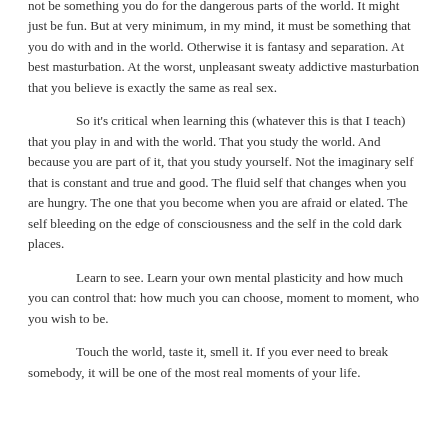Martial arts or self defense or what have you may or may not be something you do for the dangerous parts of the world. It might just be fun. But at very minimum, in my mind, it must be something that you do with and in the world. Otherwise it is fantasy and separation. At best masturbation. At the worst, unpleasant sweaty addictive masturbation that you believe is exactly the same as real sex.
So it's critical when learning this (whatever this is that I teach) that you play in and with the world. That you study the world. And because you are part of it, that you study yourself. Not the imaginary self that is constant and true and good. The fluid self that changes when you are hungry. The one that you become when you are afraid or elated. The self bleeding on the edge of consciousness and the self in the cold dark places.
Learn to see. Learn your own mental plasticity and how much you can control that: how much you can choose, moment to moment, who you wish to be.
Touch the world, taste it, smell it. If you ever need to break somebody, it will be one of the most real moments of your life.